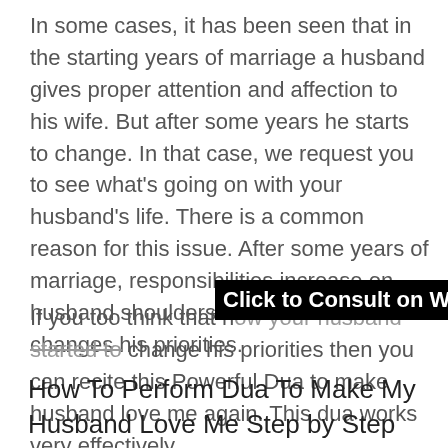In some cases, it has been seen that in the starting years of marriage a husband gives proper attention and affection to his wife. But after some years he starts to change. In that case, we request you to see what's going on with your husband's life. There is a common reason for this issue. After some years of marriage, responsibilities increase on husband shoulders. So with time, he changes his priorities.
[Figure (other): Black banner with white bold text: 'Click to Consult on Whatsapp']
If you too think that now your husband started to change his priorities then you can recite this Powerful Dua to make husband love me again. This dua works very effectively.
How To Perform Dua To Make My Husband Love Me Step by Step